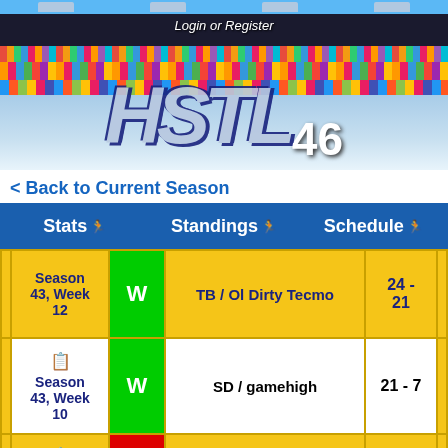[Figure (screenshot): HSTL season 46 website header with stadium background, crowd, and pixel art logo. Shows 'Login or Register' at top and 'HSTL 46' logo.]
< Back to Current Season
Stats | Standings | Schedule
| Week | Result | Opponent | Score |
| --- | --- | --- | --- |
| Season 43, Week 12 | W | TB / Ol Dirty Tecmo | 24 - 21 |
| Season 43, Week 10 | W | SD / gamehigh | 21 - 7 |
| Season 43, Week ... | L | @MIN / bob sacamano | 14 - 17 |